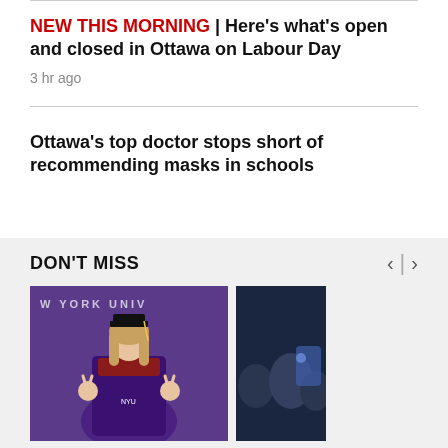NEW THIS MORNING | Here's what's open and closed in Ottawa on Labour Day
3 hr ago
Ottawa's top doctor stops short of recommending masks in schools
DON'T MISS
[Figure (photo): Person in purple graduation gown and cap making peace signs in front of a purple backdrop with 'NEW YORK UNIV' text visible]
[Figure (photo): Partial view of people in a crowd, dark background with blue lighting]